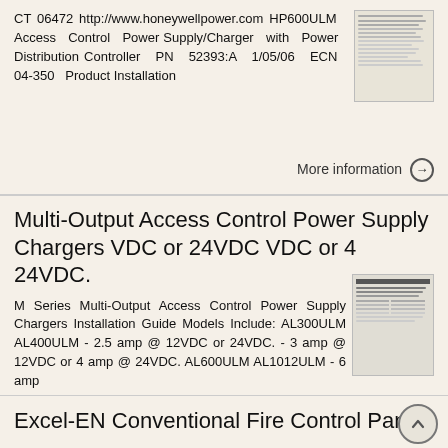CT 06472 http://www.honeywellpower.com HP600ULM Access Control Power Supply/Charger with Power Distribution Controller PN 52393:A 1/05/06 ECN 04-350 Product Installation
[Figure (other): Thumbnail image of document page]
More information →
Multi-Output Access Control Power Supply Chargers VDC or 24VDC VDC or 4 24VDC.
M Series Multi-Output Access Control Power Supply Chargers Installation Guide Models Include: AL300ULM AL400ULM - 2.5 amp @ 12VDC or 24VDC. - 3 amp @ 12VDC or 4 amp @ 24VDC. AL600ULM AL1012ULM - 6 amp
[Figure (other): Thumbnail image of M Series document]
More information →
Excel-EN Conventional Fire Control Panel